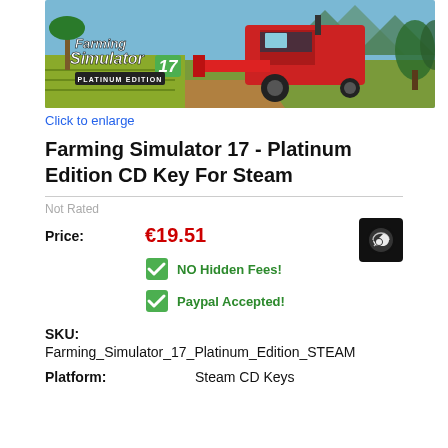[Figure (screenshot): Farming Simulator 17 Platinum Edition game cover art showing red harvester machine in tropical field with mountains in background]
Click to enlarge
Farming Simulator 17 - Platinum Edition CD Key For Steam
Not Rated
Price: €19.51
NO Hidden Fees!
Paypal Accepted!
SKU: Farming_Simulator_17_Platinum_Edition_STEAM
Platform: Steam CD Keys